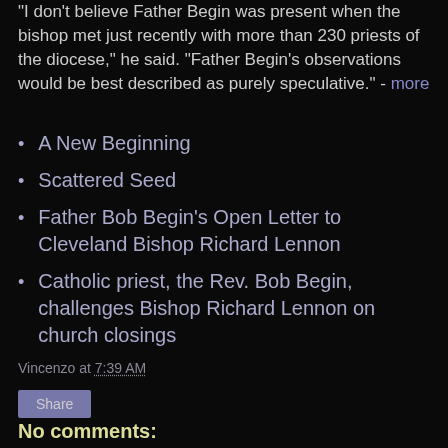"I don't believe Father Begin was present when the bishop met just recently with more than 230 priests of the diocese," he said. "Father Begin's observations would be best described as purely speculative." - more
A New Beginning
Scattered Seed
Father Bob Begin's Open Letter to Cleveland Bishop Richard Lennon
Catholic priest, the Rev. Bob Begin, challenges Bishop Richard Lennon on church closings
Vincenzo at 7:39 AM
Share
No comments: